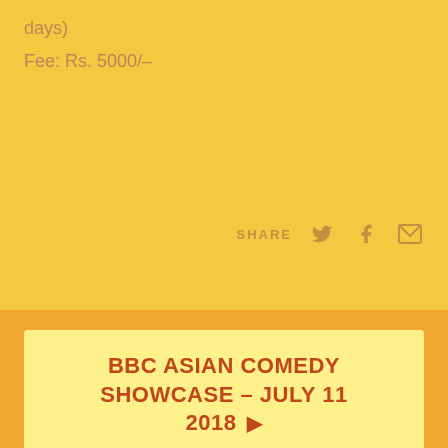days)
Fee: Rs. 5000/-
SHARE
BBC ASIAN COMEDY SHOWCASE – JULY 11 2018 ▶
[Figure (photo): Man's face from forehead to nose, looking sideways with an amusing expression, against a golden yellow background]